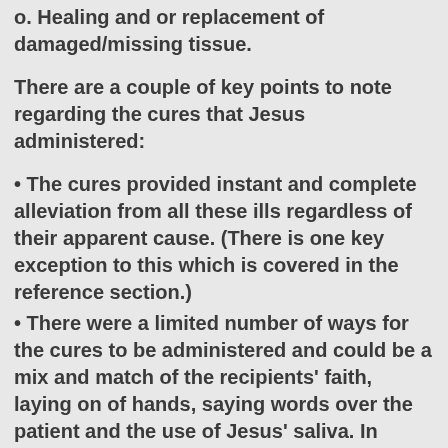o. Healing and or replacement of damaged/missing tissue.
There are a couple of key points to note regarding the cures that Jesus administered:
• The cures provided instant and complete alleviation from all these ills regardless of their apparent cause. (There is one key exception to this which is covered in the reference section.)
• There were a limited number of ways for the cures to be administered and could be a mix and match of the recipients' faith, laying on of hands, saying words over the patient and the use of Jesus' saliva. In general it does not appear to